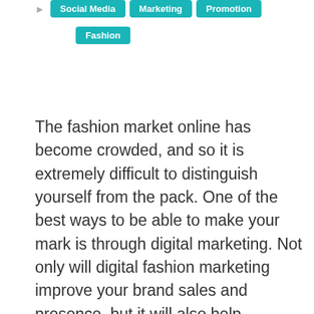Social Media | Marketing | Promotion | Fashion
The fashion market online has become crowded, and so it is extremely difficult to distinguish yourself from the pack. One of the best ways to be able to make your mark is through digital marketing. Not only will digital fashion marketing improve your brand sales and presence, but it will also help increase brand awareness. It makes the brand easily trackable, and so you are able to get immediate feedback. And this allows you to understand whether the brand is performing well or not. There are undeniable long-lasting effects of brand marketing when done correctly so it will help